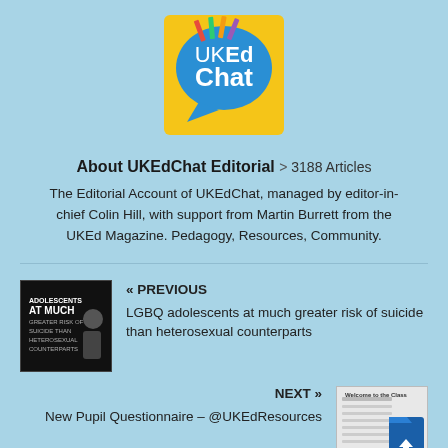[Figure (logo): UKEdChat logo — yellow speech bubble with blue 'UKEd Chat' text and decorative colored pencils at top]
About UKEdChat Editorial > 3188 Articles
The Editorial Account of UKEdChat, managed by editor-in-chief Colin Hill, with support from Martin Burrett from the UKEd Magazine. Pedagogy, Resources, Community.
« PREVIOUS
LGBQ adolescents at much greater risk of suicide than heterosexual counterparts
NEXT »
New Pupil Questionnaire – @UKEdResources